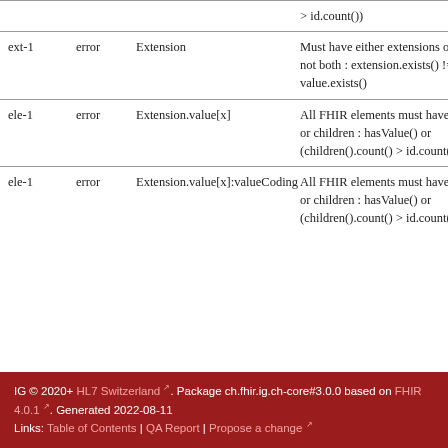| Key | Severity | Location | Description |
| --- | --- | --- | --- |
|  |  |  | > id.count()) |
| ext-1 | error | Extension | Must have either extensions or value[x], not both : extension.exists() != value.exists() |
| ele-1 | error | Extension.value[x] | All FHIR elements must have a @value or children : hasValue() or (children().count() > id.count()) |
| ele-1 | error | Extension.value[x]:valueCoding | All FHIR elements must have a @value or children : hasValue() or (children().count() > id.count()) |
IG © 2020+ HL7 Switzerland. Package ch.fhir.ig.ch-core#3.0.0 based on FHIR 4.0.1. Generated 2022-08-11 Links: Table of Contents | QA Report | Propose a change